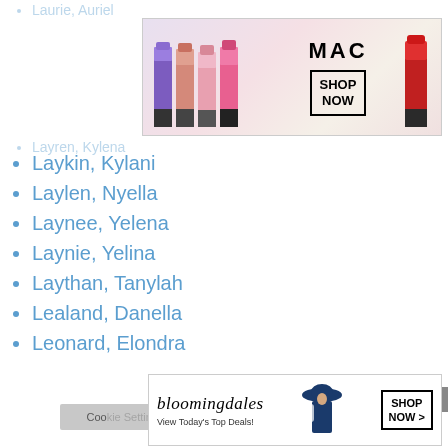Laurie, Auriel
[Figure (illustration): MAC lipstick advertisement banner with colorful lipsticks, MAC logo, and SHOP NOW button]
Layren, Kylena
Laykin, Kylani
Laylen, Nyella
Laynee, Yelena
Laynie, Yelina
Laythan, Tanylah
Lealand, Danella
Leonard, Elondra
We use cookies on our website to give you the most relevant experience by remembering your preferences and repeat visits. By clicking “Accept”, you consent to the use of ALL the cookies.
Do not sell my personal information.
[Figure (illustration): Bloomingdale's advertisement banner with model wearing hat, View Today's Top Deals text, and SHOP NOW button]